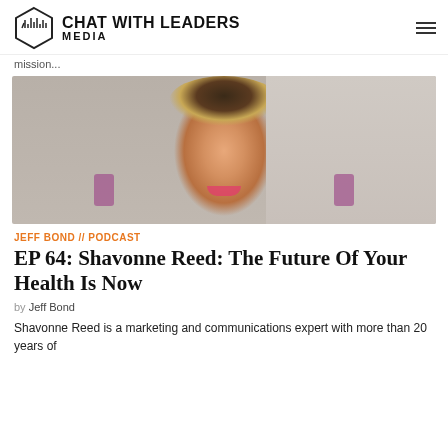CHAT WITH LEADERS MEDIA
mission...
[Figure (photo): Portrait photo of Shavonne Reed, a smiling woman with styled hair and large earrings]
JEFF BOND // PODCAST
EP 64: Shavonne Reed: The Future Of Your Health Is Now
by Jeff Bond
Shavonne Reed is a marketing and communications expert with more than 20 years of